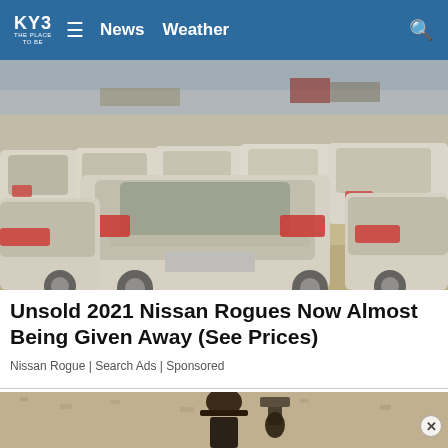KY3 THE PLACE TO BE | News  Weather
[Figure (photo): Large lot of unsold white Nissan Rogue SUVs parked in rows in a sandy/dusty area, viewed from the rear.]
Unsold 2021 Nissan Rogues Now Almost Being Given Away (See Prices)
Nissan Rogue | Search Ads | Sponsored
[Figure (photo): Partially visible second article image — appears to show a person wearing a hat near a wall-mounted light fixture, cut off at bottom.]